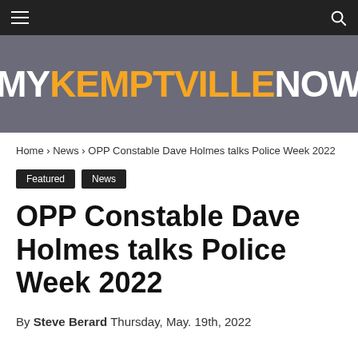MyKemptvilleNow
[Figure (logo): MyKemptvilleNow website logo on grey background — MY in white, KEMPTVILLE in orange, NOW in white, bold large text]
Home › News › OPP Constable Dave Holmes talks Police Week 2022
Featured  News
OPP Constable Dave Holmes talks Police Week 2022
By Steve Berard  Thursday, May. 19th, 2022